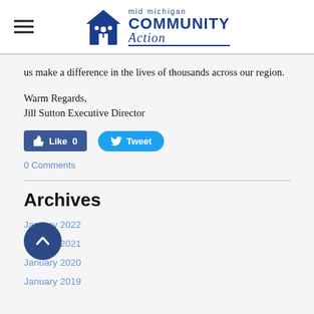mid michigan COMMUNITY Action
us make a difference in the lives of thousands across our region.
Warm Regards,
Jill Sutton Executive Director
[Figure (screenshot): Facebook Like button showing Like 0 and Twitter Tweet button]
0 Comments
Archives
January 2022
January 2021
January 2020
January 2019